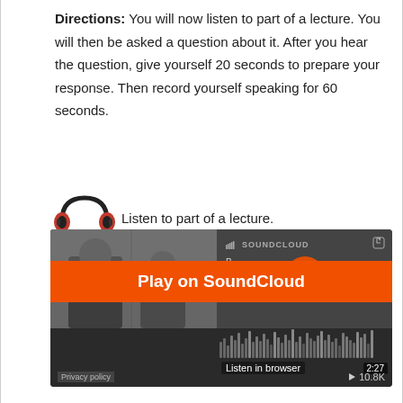Directions: You will now listen to part of a lecture. You will then be asked a question about it. After you hear the question, give yourself 20 seconds to prepare your response. Then record yourself speaking for 60 seconds.
[Figure (illustration): Headphone icon (red/black) followed by text: Listen to part of a lecture.]
[Figure (screenshot): SoundCloud embedded player with orange 'Play on SoundCloud' button, 'Listen in browser' label, 2:27 duration, 10.8K plays count, Privacy policy link, waveform visualization, and a thumbnail image of people in an office setting.]